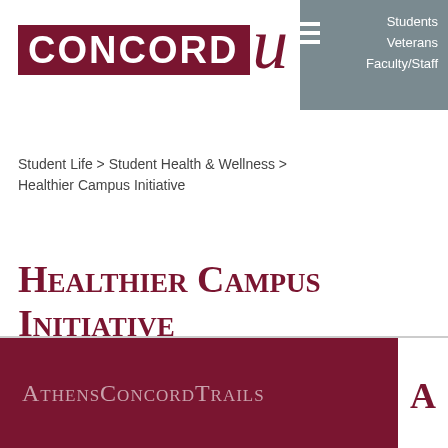[Figure (logo): Concord University logo: CONCORD in white on dark red rectangle, with a large italic cursive U in dark red to the right]
Students
Veterans
Faculty/Staff
Student Life > Student Health & Wellness > Healthier Campus Initiative
Healthier Campus Initiative
AthensConcordTrails